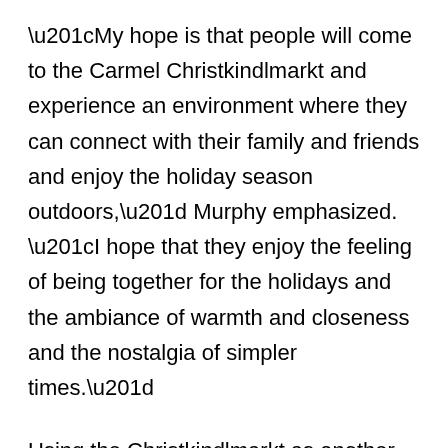“My hope is that people will come to the Carmel Christkindlmarkt and experience an environment where they can connect with their family and friends and enjoy the holiday season outdoors,” Murphy emphasized. “I hope that they enjoy the feeling of being together for the holidays and the ambiance of warmth and closeness and the nostalgia of simpler times.”
Using the Christkindlmarkt as another way for their students to immerse themselves into German culture, Carmel Clay School’s German teachers, Laura King, Angelika Becker, Joy Gieschen and Nathan Lorey, are working with Murphy on ways to include their students while enhancing the experience for the visitors of the